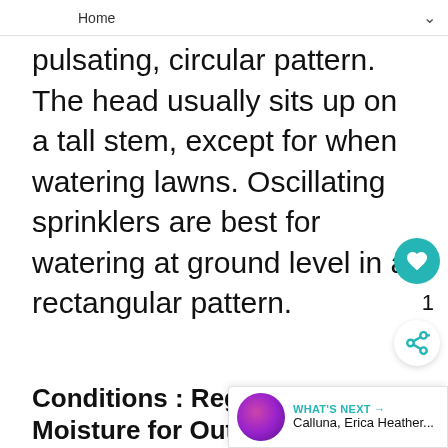Home
pulsating, circular pattern. The head usually sits up on a tall stem, except for when watering lawns. Oscillating sprinklers are best for watering at ground level in a rectangular pattern.
Conditions : Regular Moisture for Outdoor Plants
Water when normal rainfall does not provide the preferred 1 inch of moisture most plants prefer. Average water is needed during growing season, but take care not to overwater. The first two years after a plant is